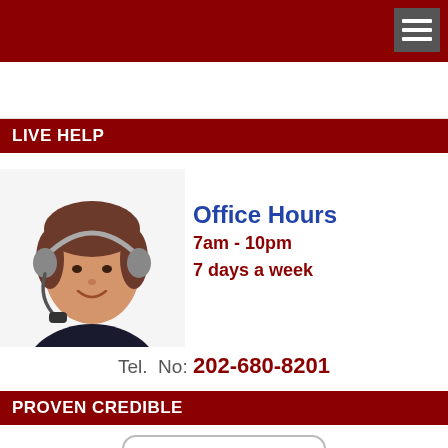[Figure (illustration): Dark red top navigation bar with a grey hamburger menu button in the top right corner]
[Figure (photo): White banner/ad area below the top navigation bar]
LIVE HELP
[Figure (photo): Woman with headset smiling, alongside text: Office Hours 7am - 10pm 7 days a week]
Tel. No: 202-680-8201
PROVEN CREDIBLE
[Figure (logo): Proven logo with green checkmark inside the letter V in PROVEN, inside a rounded rectangle border]